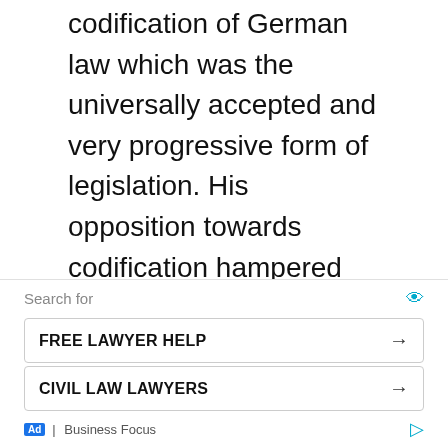codification of German law which was the universally accepted and very progressive form of legislation. His opposition towards codification hampered the growth of German law for many decades.
3.) His theory of volksgeist and his claim that it is the sole source of law was not a complete truth. He completely neglected legislation, precedents etc., as the sources
Search for
FREE LAWYER HELP →
CIVIL LAW LAWYERS →
Ad | Business Focus